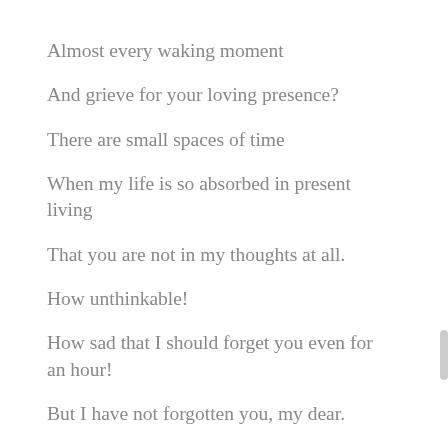Almost every waking moment
And grieve for your loving presence?
There are small spaces of time
When my life is so absorbed in present living
That you are not in my thoughts at all.
How unthinkable!
How sad that I should forget you even for an hour!
But I have not forgotten you, my dear.